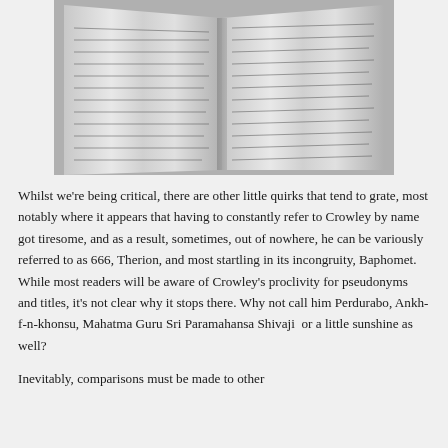[Figure (photo): Black and white photograph of open book pages showing dense text, slightly angled]
Whilst we're being critical, there are other little quirks that tend to grate, most notably where it appears that having to constantly refer to Crowley by name got tiresome, and as a result, sometimes, out of nowhere, he can be variously referred to as 666, Therion, and most startling in its incongruity, Baphomet. While most readers will be aware of Crowley's proclivity for pseudonyms and titles, it's not clear why it stops there. Why not call him Perdurabo, Ankh-f-n-khonsu, Mahatma Guru Sri Paramahansa Shivaji or a little sunshine as well?
Inevitably, comparisons must be made to other